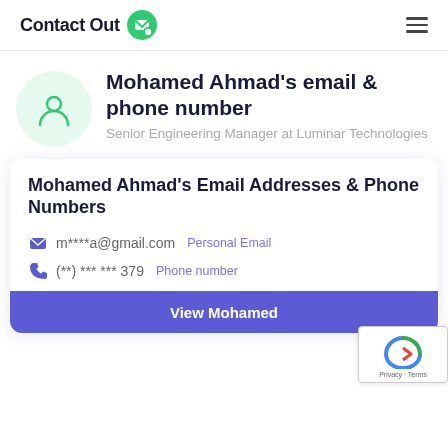ContactOut
Mohamed Ahmad's email & phone number
Senior Engineering Manager at Luminar Technologies
Mohamed Ahmad's Email Addresses & Phone Numbers
m****a@gmail.com  Personal Email
(**) *** *** 379  Phone number
View Mohamed